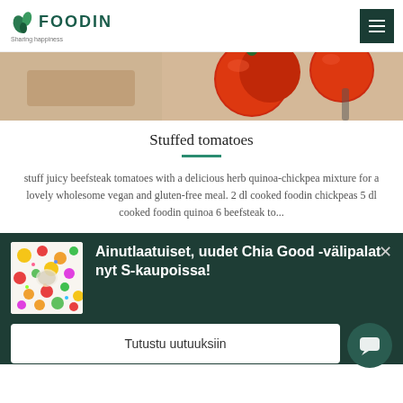FOODIN - sharing happiness
[Figure (photo): Top-down view of red tomatoes on a wooden surface]
Stuffed tomatoes
stuff juicy beefsteak tomatoes with a delicious herb quinoa-chickpea mixture for a lovely wholesome vegan and gluten-free meal. 2 dl cooked foodin chickpeas 5 dl cooked foodin quinoa 6 beefsteak to...
[Figure (photo): Colorful snack foods and fruits arranged on a white surface]
Ainutlaatuiset, uudet Chia Good -välipalat nyt S-kaupoissa!
Tutustu uutuuksiin